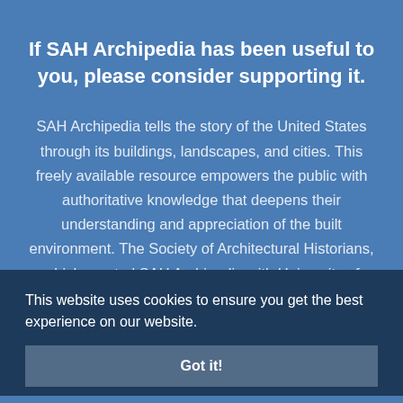If SAH Archipedia has been useful to you, please consider supporting it.
SAH Archipedia tells the story of the United States through its buildings, landscapes, and cities. This freely available resource empowers the public with authoritative knowledge that deepens their understanding and appreciation of the built environment. The Society of Architectural Historians, which created SAH Archipedia with University of Virginia Press, needs your support to maintain the high-caliber research, writing, photography, cartography, editing, design, and programming that make SAH
This website uses cookies to ensure you get the best experience on our website.
Got it!